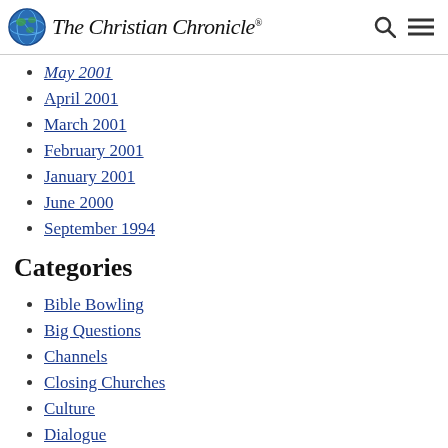The Christian Chronicle
May 2001
April 2001
March 2001
February 2001
January 2001
June 2000
September 1994
Categories
Bible Bowling
Big Questions
Channels
Closing Churches
Culture
Dialogue